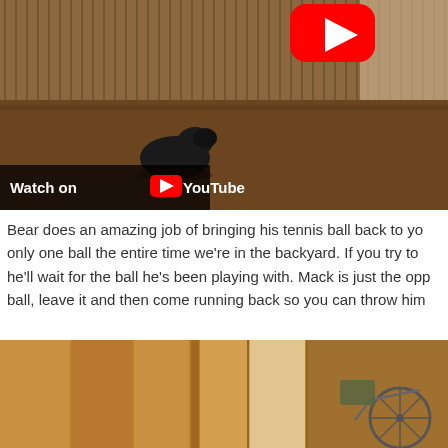[Figure (screenshot): YouTube video thumbnail showing a black dog in a backyard with a wooden fence. A red YouTube play button is visible in the upper right. At the bottom left is a 'Watch on YouTube' banner with the YouTube logo.]
Bear does an amazing job of bringing his tennis ball back to you only one ball the entire time we're in the backyard. If you try to he'll wait for the ball he's been playing with. Mack is just the opp ball, leave it and then come running back so you can throw him
[Figure (photo): Photo showing a wooden fence/wall background with warm golden tones. A bicycle or piece of equipment is partially visible on the right side.]